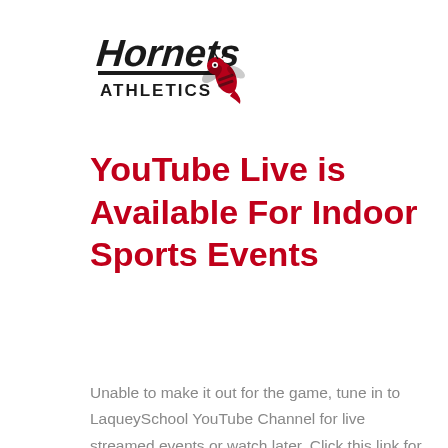[Figure (logo): Hornets Athletics logo with stylized text 'Hornets' in black with italic font, 'ATHLETICS' in block letters below, and a red hornet mascot graphic]
YouTube Live is Available For Indoor Sports Events
Unable to make it out for the game, tune in to LaqueySchool YouTube Channel for live streamed events or watch later. Click this link for direct access to the YouTube Channel and r...
READ MORE >
[Figure (screenshot): Laquey R-5 School District NEWS thumbnail image with dark red background and white text]